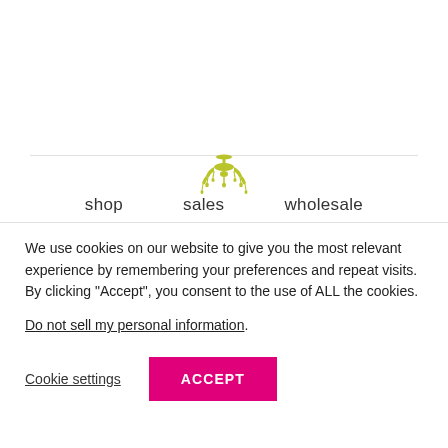[Figure (logo): Decorative chandelier logo in olive/yellow-green color]
shop   sales   wholesale
We use cookies on our website to give you the most relevant experience by remembering your preferences and repeat visits. By clicking “Accept”, you consent to the use of ALL the cookies.
Do not sell my personal information.
Cookie settings   ACCEPT